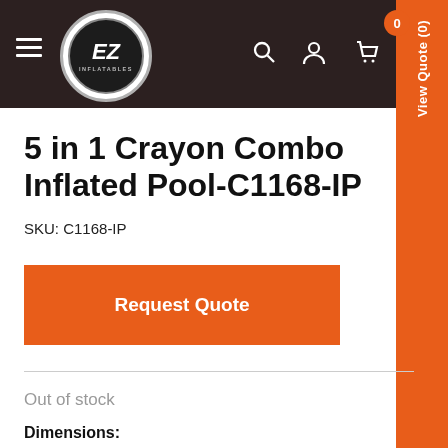[Figure (logo): EZ Inflatables logo — circular badge with dark background, 'EZ' in white bold italic text and 'INFLATABLES' below in small caps]
5 in 1 Crayon Combo Inflated Pool-C1168-IP
SKU: C1168-IP
Request Quote
Out of stock
Dimensions: